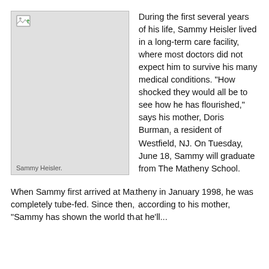[Figure (photo): Photo placeholder of Sammy Heisler with a broken image icon in the top-left corner, light gray background.]
Sammy Heisler.
During the first several years of his life, Sammy Heisler lived in a long-term care facility, where most doctors did not expect him to survive his many medical conditions. “How shocked they would all be to see how he has flourished,” says his mother, Doris Burman, a resident of Westfield, NJ. On Tuesday, June 18, Sammy will graduate from The Matheny School.
When Sammy first arrived at Matheny in January 1998, he was completely tube-fed. Since then, according to his mother, “Sammy has shown the world that he’ll...